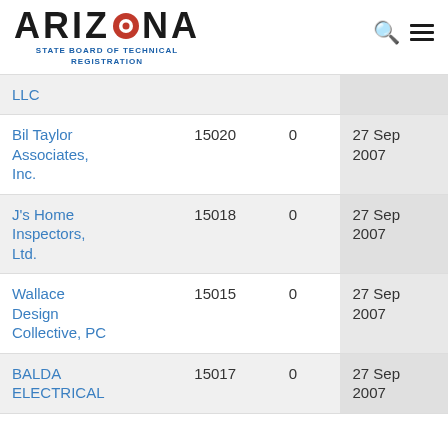ARIZONA STATE BOARD OF TECHNICAL REGISTRATION
| Name | Number | Count | Date |
| --- | --- | --- | --- |
| LLC |  |  |  |
| Bil Taylor Associates, Inc. | 15020 | 0 | 27 Sep 2007 |
| J's Home Inspectors, Ltd. | 15018 | 0 | 27 Sep 2007 |
| Wallace Design Collective, PC | 15015 | 0 | 27 Sep 2007 |
| BALDA ELECTRICAL | 15017 | 0 | 27 Sep 2007 |